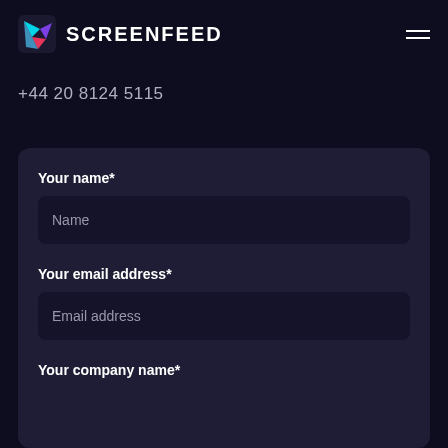SCREENFEED
+44 20 8124 5115
Your name*
Name
Your email address*
Email address
Your company name*